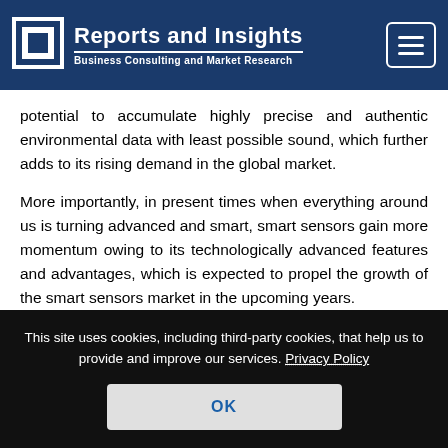Reports and Insights — Business Consulting and Market Research
potential to accumulate highly precise and authentic environmental data with least possible sound, which further adds to its rising demand in the global market.
More importantly, in present times when everything around us is turning advanced and smart, smart sensors gain more momentum owing to its technologically advanced features and advantages, which is expected to propel the growth of the smart sensors market in the upcoming years.
This site uses cookies, including third-party cookies, that help us to provide and improve our services. Privacy Policy
OK